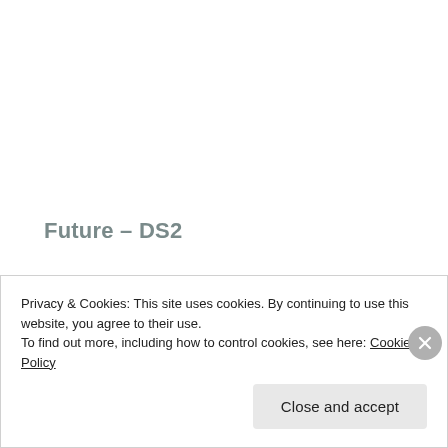Future – DS2
Future has been on an incredible roll recently, consistently putting out high quality music. It's more of the same here for Future but that's far from a bad
Privacy & Cookies: This site uses cookies. By continuing to use this website, you agree to their use.
To find out more, including how to control cookies, see here: Cookie Policy
Close and accept
HIPHOPCOLLECTIBLES